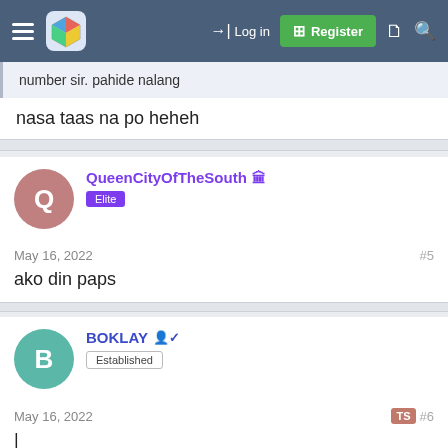Log in | Register
number sir. pahide nalang
nasa taas na po heheh
QueenCityOfTheSouth Elite — May 16, 2022 #5
ako din paps
BOKLAY Established — May 16, 2022 #6